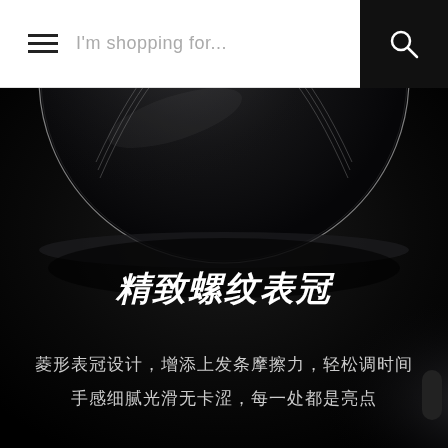I'm shopping for...
[Figure (photo): Close-up of a round watch crown with fine spiral threading against a dark/black background. The circular metallic crown with silver thin wire is shown from above, with dramatic dark studio lighting revealing the texture of the crown.]
精致螺纹表冠
菱形表冠设计，增添上发条摩擦力，轻松调时间 手感细腻光滑无卡涩，每一处都是亮点